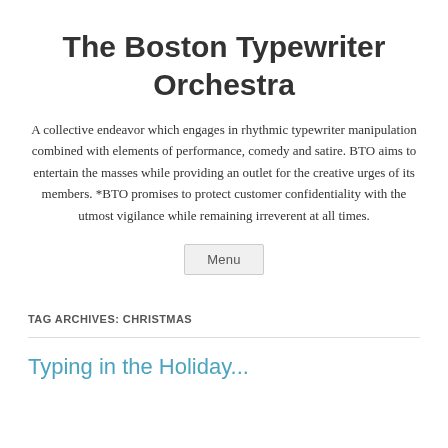The Boston Typewriter Orchestra
A collective endeavor which engages in rhythmic typewriter manipulation combined with elements of performance, comedy and satire. BTO aims to entertain the masses while providing an outlet for the creative urges of its members. *BTO promises to protect customer confidentiality with the utmost vigilance while remaining irreverent at all times.
Menu
TAG ARCHIVES: CHRISTMAS